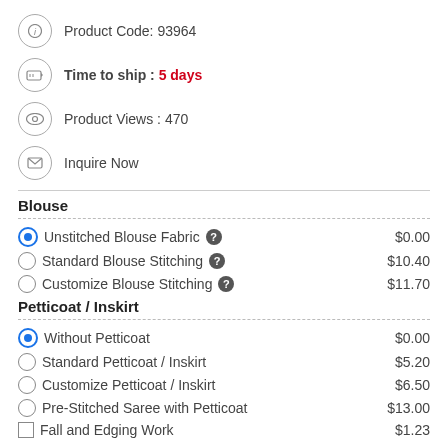Product Code: 93964
Time to ship : 5 days
Product Views : 470
Inquire Now
Blouse
Unstitched Blouse Fabric  $0.00
Standard Blouse Stitching  $10.40
Customize Blouse Stitching  $11.70
Petticoat / Inskirt
Without Petticoat  $0.00
Standard Petticoat / Inskirt  $5.20
Customize Petticoat / Inskirt  $6.50
Pre-Stitched Saree with Petticoat  $13.00
Fall and Edging Work  $1.23